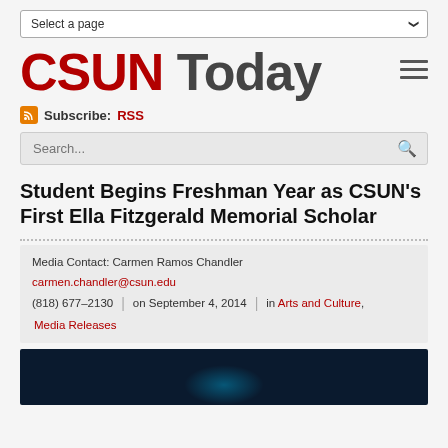Select a page
CSUN Today
Subscribe: RSS
Search...
Student Begins Freshman Year as CSUN’s First Ella Fitzgerald Memorial Scholar
Media Contact: Carmen Ramos Chandler
carmen.chandler@csun.edu
(818) 677-2130 | on September 4, 2014 | in Arts and Culture, Media Releases
[Figure (photo): Dark blue background photo, partially visible at bottom of page, appearing to show a performer with glowing light effect]